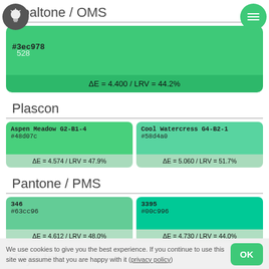Opaltone / OMS
[Figure (infographic): Color swatch card for Opaltone/OMS color #3ec978, showing hex code and delta E / LRV values: ΔE = 4.400 / LRV = 44.2%]
Plascon
[Figure (infographic): Two color swatch cards side by side: Aspen Meadow G2-B1-4 #48d07c (ΔE=4.574/LRV=47.9%) and Cool Watercress G4-B2-1 #58d4a0 (ΔE=5.060/LRV=51.7%)]
Pantone / PMS
[Figure (infographic): Two color swatch cards side by side: 346 #63cc96 (ΔE=4.612/LRV=48.0%) and 3395 #00c996 (ΔE=4.730/LRV=44.0%)]
Toyo Ink
[Figure (infographic): Two color swatch cards side by side: CF10277 #48c283 and CF10271 #61d699]
We use cookies to give you the best experience. If you continue to use this site we assume that you are happy with it (privacy policy)